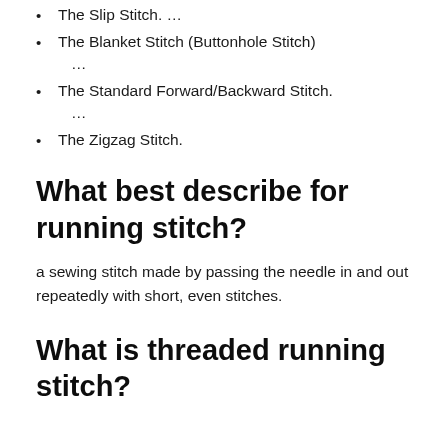The Slip Stitch. …
The Blanket Stitch (Buttonhole Stitch) …
The Standard Forward/Backward Stitch. …
The Zigzag Stitch.
What best describe for running stitch?
a sewing stitch made by passing the needle in and out repeatedly with short, even stitches.
What is threaded running stitch?